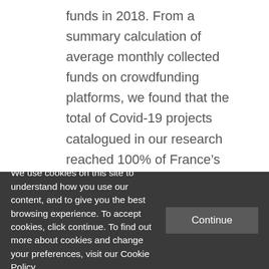funds in 2018. From a summary calculation of average monthly collected funds on crowdfunding platforms, we found that the total of Covid-19 projects catalogued in our research reached 100% of France's normal monthly target of crowdfunding activity. Stated differently, Covid-19 projects represent the bulk of current crowdfunding activity. From our data, therefore, transpires a notable acceleration in crowdfunding
We use cookies on this site to understand how you use our content, and to give you the best browsing experience. To accept cookies, click continue. To find out more about cookies and change your preferences, visit our Cookie Policy.